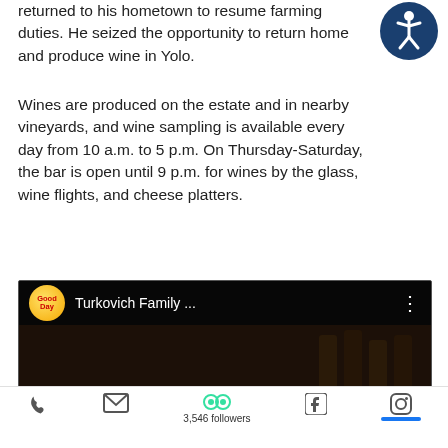returned to his hometown to resume farming duties. He seized the opportunity to return home and produce wine in Yolo.
[Figure (logo): Accessibility icon: dark blue circle with white human figure (wheelchair accessible symbol)]
Wines are produced on the estate and in nearby vineyards, and wine sampling is available every day from 10 a.m. to 5 p.m. On Thursday-Saturday, the bar is open until 9 p.m. for wines by the glass, wine flights, and cheese platters.
[Figure (screenshot): YouTube video thumbnail showing 'Turkovich Family ...' with GoodDay logo, dark background with wine bottles, red play button in center]
[Figure (infographic): Footer navigation bar with phone icon, email icon, Tripadvisor icon with '3,546 followers' text, Facebook icon, and Instagram icon with blue bar indicator]